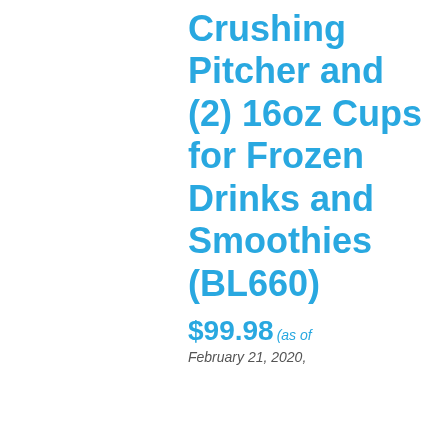Crushing Pitcher and (2) 16oz Cups for Frozen Drinks and Smoothies (BL660)
$99.98 (as of February 21, 2020,